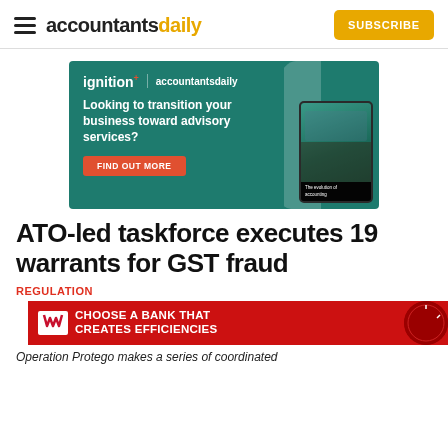accountantsdaily — SUBSCRIBE
[Figure (advertisement): Ignition x accountantsdaily advertisement banner on green background. Text: 'Looking to transition your business toward advisory services?' with 'FIND OUT MORE' button. Shows tablet device with 'The evolution of accounting' text.]
ATO-led taskforce executes 19 warrants for GST fraud
REGULATION
[Figure (advertisement): Westpac red banner advertisement: 'CHOOSE A BANK THAT CREATES EFFICIENCIES']
Operation Protego makes a series of coordinated